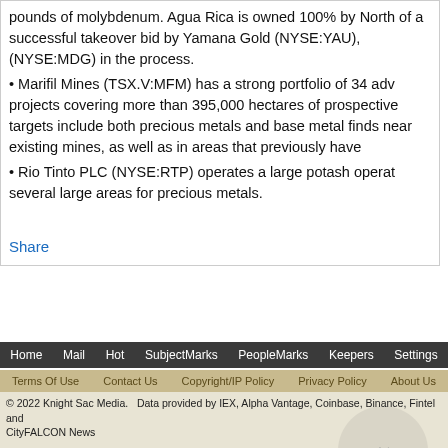pounds of molybdenum. Agua Rica is owned 100% by North of a successful takeover bid by Yamana Gold (NYSE:YAU), (NYSE:MDG) in the process. • Marifil Mines (TSX.V:MFM) has a strong portfolio of 34 adv projects covering more than 395,000 hectares of prospective targets include both precious metals and base metal finds near existing mines, as well as in areas that previously have • Rio Tinto PLC (NYSE:RTP) operates a large potash operat several large areas for precious metals.
Share
[Figure (other): Advertisement placeholder with circular logo/icon]
Home   Mail   Hot   SubjectMarks   PeopleMarks   Keepers   Settings
Terms Of Use   Contact Us   Copyright/IP Policy   Privacy Policy   About Us
© 2022 Knight Sac Media.   Data provided by IEX, Alpha Vantage, Coinbase, Binance, Fintel and CityFALCON News